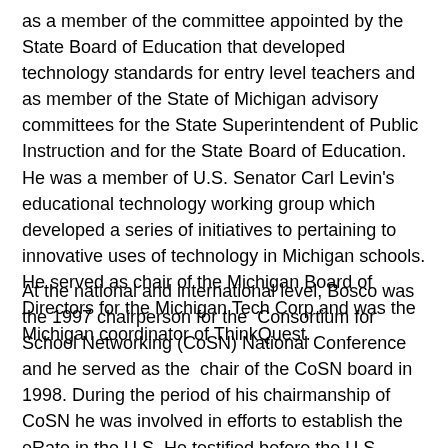as a member of the committee appointed by the State Board of Education that developed technology standards for entry level teachers and as member of the State of Michigan advisory committees for the State Superintendent of Public Instruction and for the State Board of Education. He was a member of U.S. Senator Carl Levin's educational technology working group which developed a series of initiatives to pertaining to innovative uses of technology in Michigan schools. He served as chair of the Michigan Board of Directors for the Michigan Tech Corp and was the Michigan coordinator of ThinkQuest.
At the national and international level, Bosco was the 1997 chairperson for the  Consortium for School Networking (CoSN) National Conference and he served as the  chair of the CoSN board in 1998. During the period of his chairmanship of CoSN he was involved in efforts to establish the eRate in the U.S. He testified before the U.S. Copyright Commission during the development of the Copyright Millenium Act on behalf of K-12  educaiton. He played  a major role in encouraging linkages between educational technology in the U.S. and other nations by establishing an